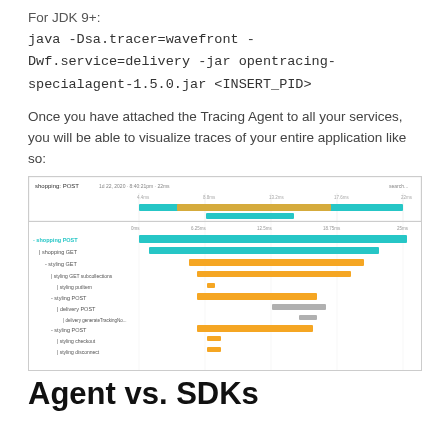For JDK 9+:
Once you have attached the Tracing Agent to all your services, you will be able to visualize traces of your entire application like so:
[Figure (screenshot): A distributed tracing Gantt/flame chart showing spans for shopping POST, shopping GET, styling GET, styling GET subcollections, styling PUT, styling POST, delivery POST, delivery generateTrackingNo, styling POST, styling checkout, styling disconnect services with colored horizontal bars (teal and yellow/orange) on a timeline from 0ms to 20ms.]
Agent vs. SDKs